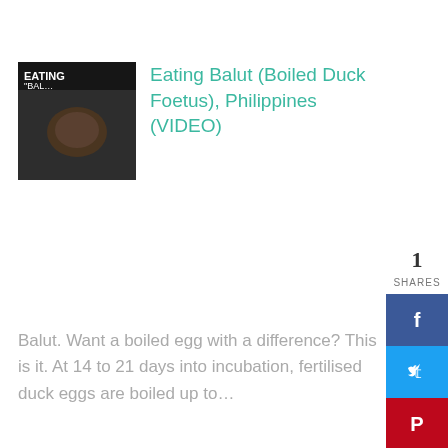[Figure (photo): Thumbnail image showing hands holding a Balut (boiled duck foetus) egg, with text overlay reading 'EATING BALUT']
Eating Balut (Boiled Duck Foetus), Philippines (VIDEO)
Balut. Want a boiled egg with a difference? This is it. At 14 to 21 days into incubation, fertilised duck eggs are boiled up to…
[Figure (photo): Thumbnail image showing a plate of pig organs hotpot with various cooked organs on a dark plate]
Eating Pig Organs Hotpot (Pyin oo Lwin, Myanmar) (Video)
TOMMO EATS